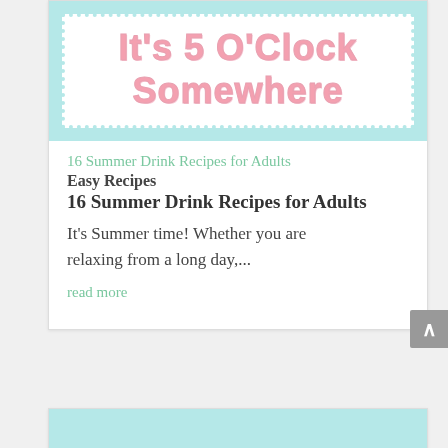[Figure (illustration): Blog header banner with scalloped light blue border containing pink outlined bold text reading 'It's 5 O'Clock Somewhere' on white background]
16 Summer Drink Recipes for Adults
Easy Recipes
16 Summer Drink Recipes for Adults
It's Summer time! Whether you are relaxing from a long day,...
read more